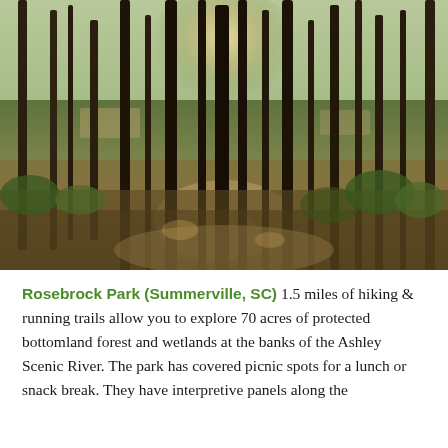[Figure (photo): A forest scene with sunlight filtering through tall thin trees, green undergrowth and fallen leaves on the ground, a building visible in the background through the trees.]
Rosebrock Park (Summerville, SC) 1.5 miles of hiking & running trails allow you to explore 70 acres of protected bottomland forest and wetlands at the banks of the Ashley Scenic River. The park has covered picnic spots for a lunch or snack break. They have interpretive panels along the 1.5 mile trail to learn more about the park and your local...